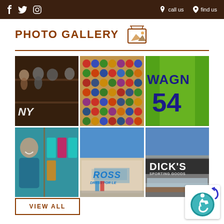f  twitter  instagram  call us  find us
PHOTO GALLERY
[Figure (photo): Six-photo gallery grid showing: sports memorabilia bobbleheads on shelves (NY Yankees), wall of sports team magnets/pins, green Wagner #54 sports jersey, woman shopping for clothes on rack, Ross Dress for Less store exterior, Dick's Sporting Goods store exterior]
VIEW ALL